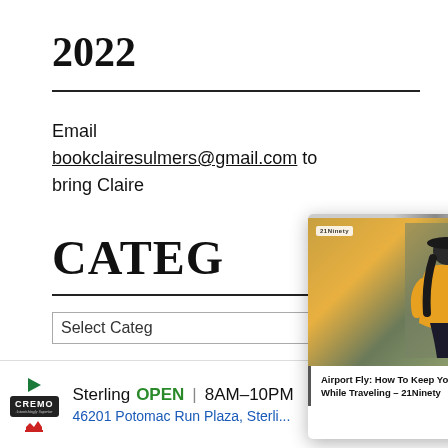2022
Email bookclairesulmers@gmail.com to bring Claire
CATEG
Select Categ
[Figure (screenshot): Popup overlay showing a fashion article preview: 'Airport Fly: How To Keep Your Swag While Traveling - 21Ninety' with a woman in yellow outfit and black hat, with navigation arrows and close button]
Sterling OPEN 8AM-10PM 46201 Potomac Run Plaza, Sterli... — Cremo ad banner